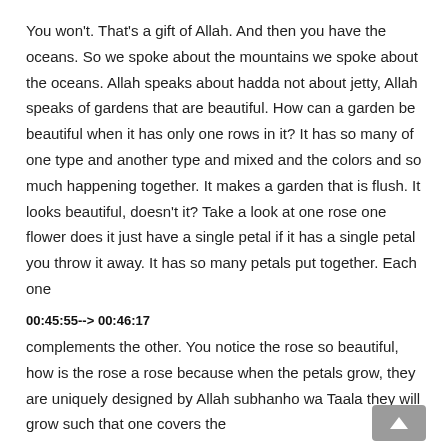You won't. That's a gift of Allah. And then you have the oceans. So we spoke about the mountains we spoke about the oceans. Allah speaks about hadda not about jetty, Allah speaks of gardens that are beautiful. How can a garden be beautiful when it has only one rows in it? It has so many of one type and another type and mixed and the colors and so much happening together. It makes a garden that is flush. It looks beautiful, doesn't it? Take a look at one rose one flower does it just have a single petal if it has a single petal you throw it away. It has so many petals put together. Each one
00:45:55--> 00:46:17
complements the other. You notice the rose so beautiful, how is the rose a rose because when the petals grow, they are uniquely designed by Allah subhanho wa Taala they will grow such that one covers the